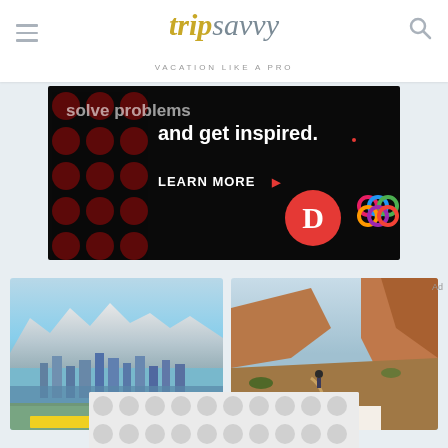tripsavvy — VACATION LIKE A PRO
[Figure (screenshot): Advertisement banner on black background with dark red polka dots pattern. Text reads 'solve problems and get inspired.' with 'LEARN MORE >' button, Digg logo (red circle with white D), and a colorful interlocking circles logo]
[Figure (photo): Aerial city panorama photo showing Denver or similar city skyline with snow-capped Rocky Mountains in background, blue sky and lake/bay visible]
[Figure (photo): Desert canyon hiking trail photo showing a person hiking on a red rock ridge with canyon landscape. Badge reads THINGS TO DO]
[Figure (screenshot): Bottom advertisement strip with grey polka dots pattern on light background]